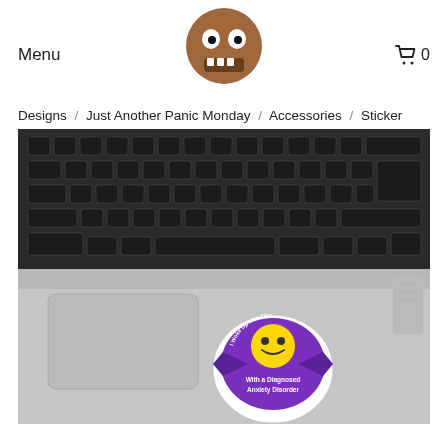Menu
[Figure (logo): Brown round monster face logo with teeth and dot eyes]
🛒 0
Designs / Just Another Panic Monday / Accessories / Sticker
[Figure (photo): Photo of a MacBook laptop keyboard with a sticker on the palm rest area. The sticker is circular/badge-shaped with purple background and a yellow smiley face, reading 'I Woke Up Like This With a Diagnosed Anxiety Disorder']